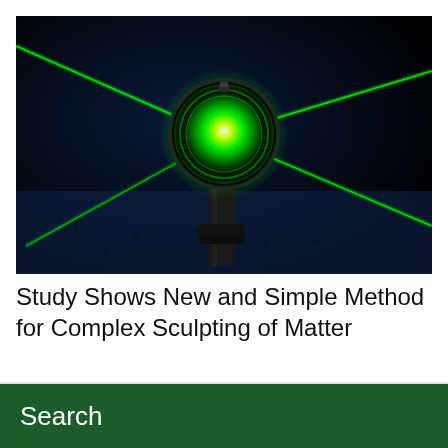[Figure (photo): A green laser beam passing through a lens or optical element mounted on a post, against a dark blue/black background. Multiple green laser beams cross in an X pattern. The lens glows bright green with a white center hot spot.]
Study Shows New and Simple Method for Complex Sculpting of Matter
Search